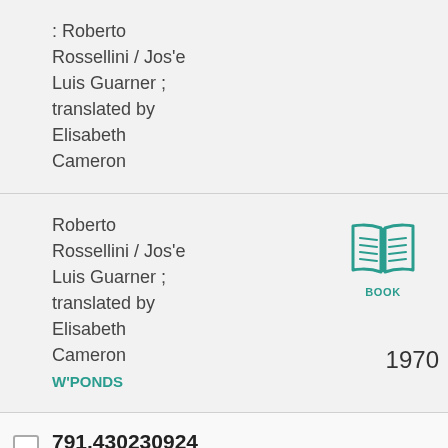: Roberto Rossellini / Jos'e Luis Guarner ; translated by Elisabeth Cameron
Roberto Rossellini / Jos'e Luis Guarner ; translated by Elisabeth Cameron
[Figure (illustration): Open book icon in teal color with label BOOK below it]
W'PONDS
1970
791.430230924
Vertov Pet/Cif
: Constructivism in film : The man